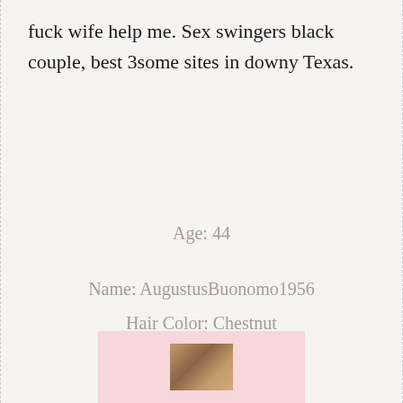fuck wife help me. Sex swingers black couple, best 3some sites in downy Texas.
Age: 44
Name: AugustusBuonomo1956
Hair Color: Chestnut
Marital Status: Married
City: Stafford, TX 77477
[Figure (photo): Small thumbnail photo of two people against a pink background box]